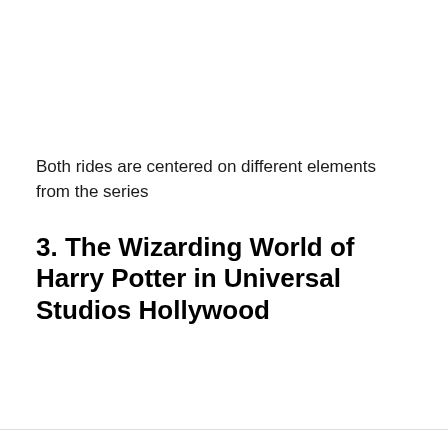Both rides are centered on different elements from the series
3. The Wizarding World of Harry Potter in Universal Studios Hollywood